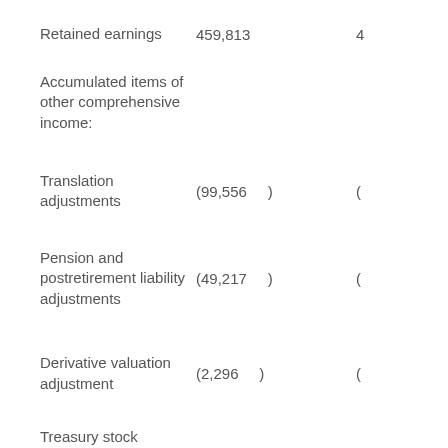|  | Column 1 | Column 2 |
| --- | --- | --- |
| Retained earnings | 459,813 | 4... |
| Accumulated items of other comprehensive income: |  |  |
| Translation adjustments | (99,556 ) | ( |
| Pension and postretirement liability adjustments | (49,217 ) | ( |
| Derivative valuation adjustment | (2,296 ) | ( |
| Treasury stock |  |  |